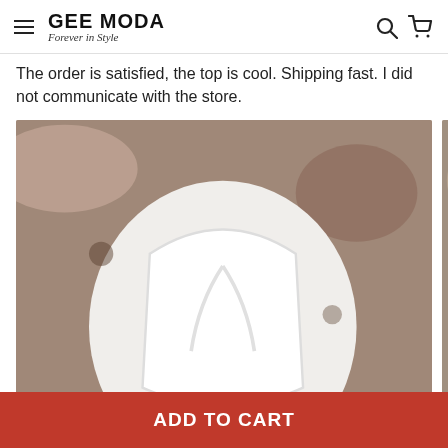GEE MODA — Forever in Style
The order is satisfied, the top is cool. Shipping fast. I did not communicate with the store.
[Figure (photo): Two photos of a white clothing item (top/bra) laid flat on a decorative stone/marble surface]
A****y 5 Oct 2020 09:16 — 5 stars — Osylka came, everything is in good condition, I order in this store not the first time, put the gift) I wear the size S, came up)
ADD TO CART